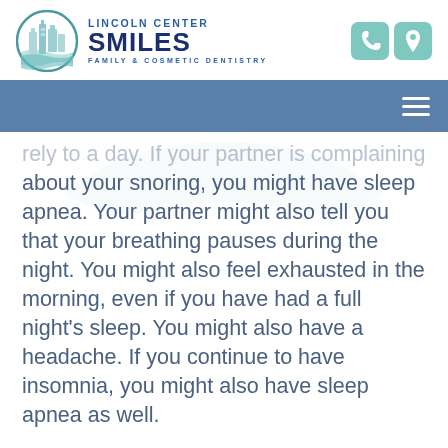[Figure (logo): Lincoln Center Smiles Family & Cosmetic Dentistry logo — circular emblem with teal building/arch graphic, dark navy text reading LINCOLN CENTER SMILES, tagline FAMILY & COSMETIC DENTISTRY]
[Figure (other): Teal phone icon and teal map pin icon in top right corner]
...rely to a day. If your partner is complaining about your snoring, you might have sleep apnea. Your partner might also tell you that your breathing pauses during the night. You might also feel exhausted in the morning, even if you have had a full night's sleep. You might also have a headache. If you continue to have insomnia, you might also have sleep apnea as well.